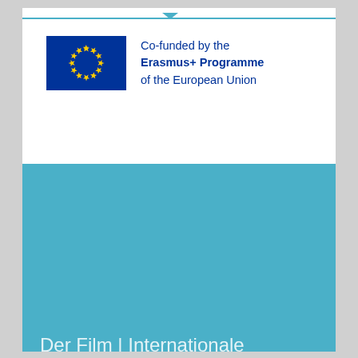[Figure (logo): EU flag (blue rectangle with yellow stars in circle) alongside text: Co-funded by the Erasmus+ Programme of the European Union]
Co-funded by the Erasmus+ Programme of the European Union
Der Film | Internationale Sommeruniversität
[Figure (screenshot): Video thumbnail showing a man wearing a white hat and glasses, with text overlay reading 'Simon, 36 Journalist' and a YouTube play button in the center-left area]